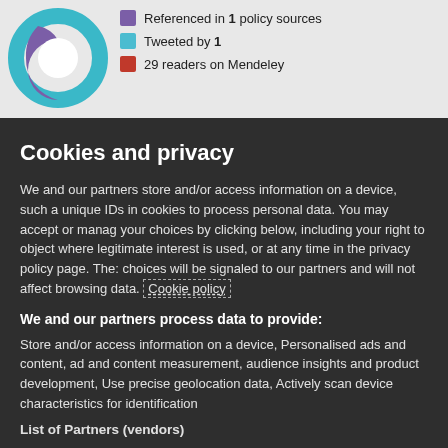[Figure (screenshot): Partial screenshot of a web page behind a cookie consent overlay, showing a logo (purple and teal circular icon) and text items: 'Referenced in 1 policy sources', 'Tweeted by 1', and a partially visible line '29 readers on Mendeley']
Cookies and privacy
We and our partners store and/or access information on a device, such a unique IDs in cookies to process personal data. You may accept or manage your choices by clicking below, including your right to object where legitimate interest is used, or at any time in the privacy policy page. These choices will be signaled to our partners and will not affect browsing data. Cookie policy
We and our partners process data to provide:
Store and/or access information on a device, Personalised ads and content, ad and content measurement, audience insights and product development, Use precise geolocation data, Actively scan device characteristics for identification
List of Partners (vendors)
I Accept